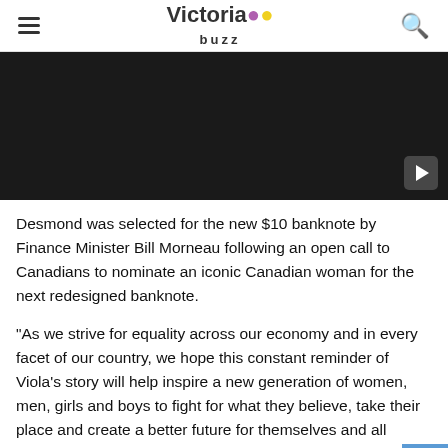Victoria buzz
[Figure (screenshot): Dark video thumbnail with a play button in the bottom-right corner]
Desmond was selected for the new $10 banknote by Finance Minister Bill Morneau following an open call to Canadians to nominate an iconic Canadian woman for the next redesigned banknote.
“As we strive for equality across our economy and in every facet of our country, we hope this constant reminder of Viola’s story will help inspire a new generation of women, men, girls and boys to fight for what they believe, take their place and create a better future for themselves and all Canadians,” said